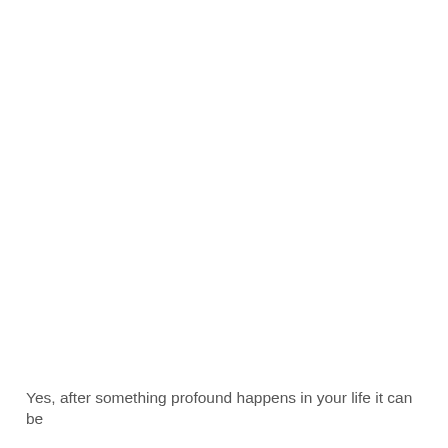Yes, after something profound happens in your life it can be